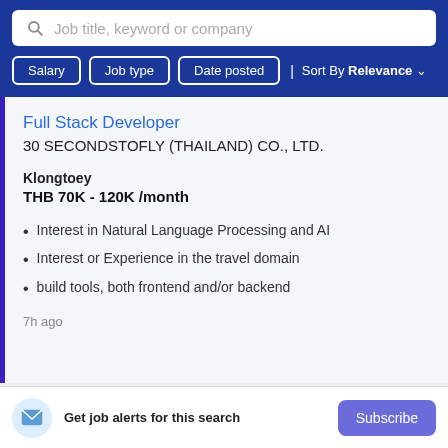Job title, keyword or company
Salary | Job type | Date posted | Sort By Relevance
Full Stack Developer
30 SECONDSTOFLY (THAILAND) CO., LTD.
Klongtoey
THB 70K - 120K /month
Interest in Natural Language Processing and AI
Interest or Experience in the travel domain
build tools, both frontend and/or backend
7h ago
Get job alerts for this search
Subscribe